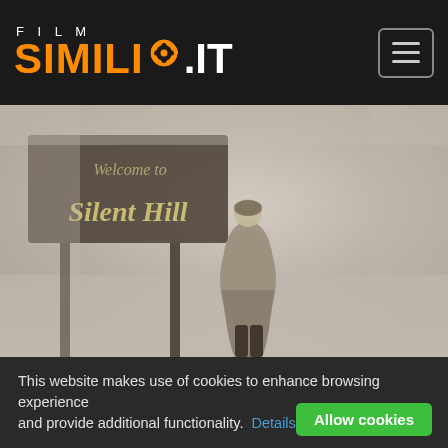FILM SIMILI.IT
[Figure (photo): A woman in a long coat walking away into a foggy landscape, with a 'Welcome to Silent Hill' sign visible in the background. Atmospheric horror movie screenshot from Silent Hill.]
This website makes use of cookies to enhance browsing experience and provide additional functionality. Details  Allow cookies